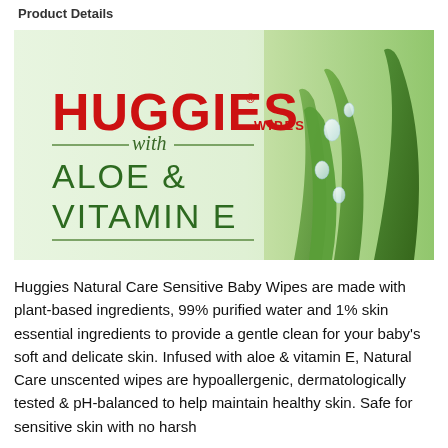Product Details
[Figure (photo): Huggies Wipes with Aloe & Vitamin E product banner image showing the Huggies logo in red, text 'WIPES with ALOE & VITAMIN E' in green on a light green background, with aloe vera plant with water droplets on the right side.]
Huggies Natural Care Sensitive Baby Wipes are made with plant-based ingredients, 99% purified water and 1% skin essential ingredients to provide a gentle clean for your baby's soft and delicate skin. Infused with aloe & vitamin E, Natural Care unscented wipes are hypoallergenic, dermatologically tested & pH-balanced to help maintain healthy skin. Safe for sensitive skin with no harsh